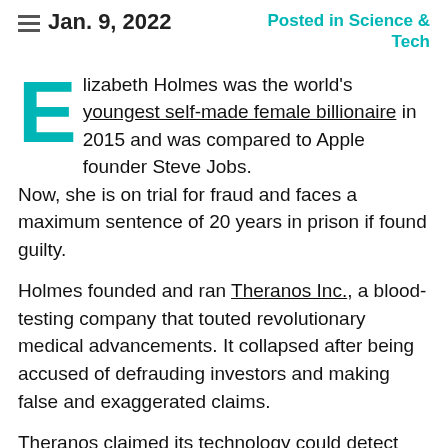Jan. 9, 2022   Posted in Science & Tech
Elizabeth Holmes was the world's youngest self-made female billionaire in 2015 and was compared to Apple founder Steve Jobs. Now, she is on trial for fraud and faces a maximum sentence of 20 years in prison if found guilty.
Holmes founded and ran Theranos Inc., a blood-testing company that touted revolutionary medical advancements. It collapsed after being accused of defrauding investors and making false and exaggerated claims.
Theranos claimed its technology could detect over 200 diseases and health conditions from a single…